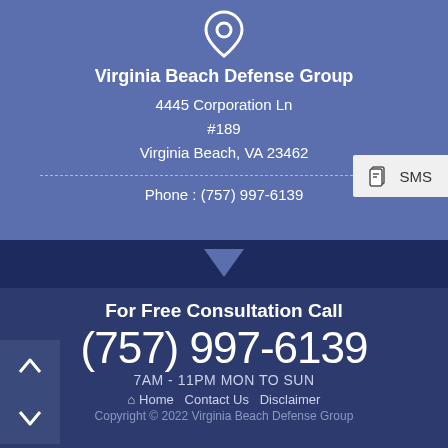[Figure (illustration): Map pin / location icon in white, outline style, at top center]
Virginia Beach Defense Group
4445 Corporation Ln
#189
Virginia Beach, VA 23462
Phone : (757) 997-6139
SMS
For Free Consultation Call
(757) 997-6139
7AM - 11PM MON TO SUN
Home   Contact Us   Disclaimer
Copyright © 2022 Virginia Beach Defense Group